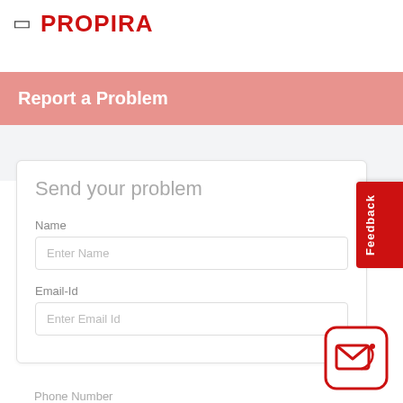PROPIRA
Report a Problem
Send your problem
Name
Enter Name
Email-Id
Enter Email Id
Phone Number
[Figure (illustration): Red envelope/email icon inside a rounded square border]
Feedback